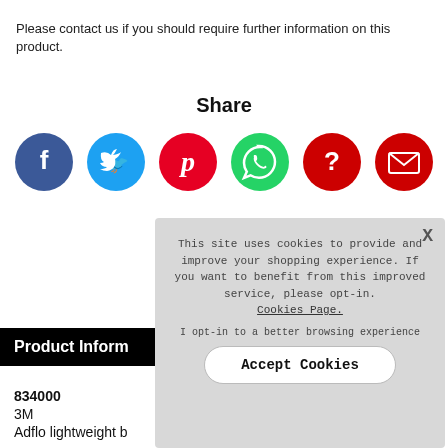Please contact us if you should require further information on this product.
Share
[Figure (infographic): Row of six social media share icons: Facebook (dark blue circle with f), Twitter (light blue circle with bird), Pinterest (red circle with P), WhatsApp (green circle with phone), Help/Question (red circle with ?), Email (red circle with envelope)]
This site uses cookies to provide and improve your shopping experience. If you want to benefit from this improved service, please opt-in. Cookies Page. I opt-in to a better browsing experience
Product Inform
834000
3M
Adflo lightweight b